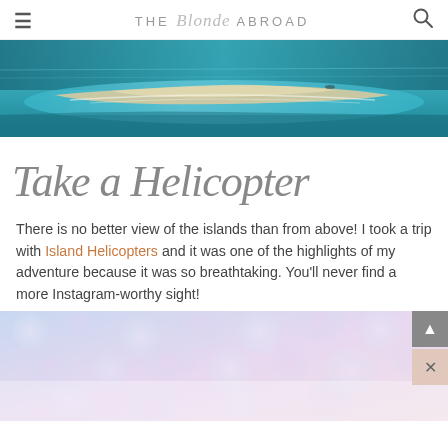THE Blonde ABROAD
[Figure (photo): Aerial view of islands with turquoise ocean water and sandy beach strip]
Take a Helicopter Tour
There is no better view of the islands than from above! I took a trip with Island Helicopters and it was one of the highlights of my adventure because it was so breathtaking. You'll never find a more Instagram-worthy sight!
[Figure (photo): Soft pastel bokeh/clouds photo, partially visible at bottom of page]